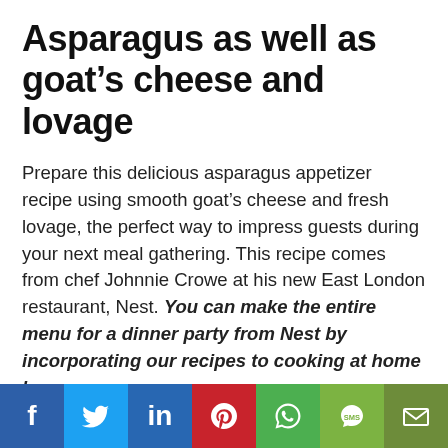Asparagus as well as goat’s cheese and lovage
Prepare this delicious asparagus appetizer recipe using smooth goat’s cheese and fresh lovage, the perfect way to impress guests during your next meal gathering. This recipe comes from chef Johnnie Crowe at his new East London restaurant, Nest. You can make the entire menu for a dinner party from Nest by incorporating our recipes to cooking at home here…
Courgette flowers fried